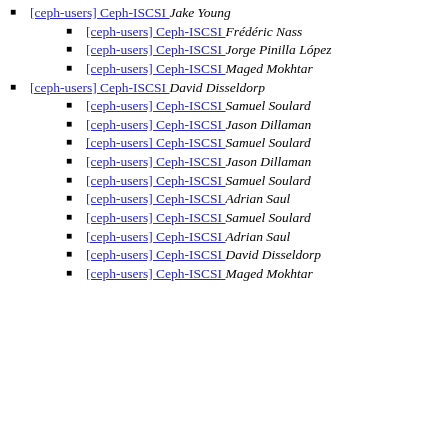[ceph-users] Ceph-ISCSI  Jake Young
[ceph-users] Ceph-ISCSI  Frédéric Nass
[ceph-users] Ceph-ISCSI  Jorge Pinilla López
[ceph-users] Ceph-ISCSI  Maged Mokhtar
[ceph-users] Ceph-ISCSI  David Disseldorp
[ceph-users] Ceph-ISCSI  Samuel Soulard
[ceph-users] Ceph-ISCSI  Jason Dillaman
[ceph-users] Ceph-ISCSI  Samuel Soulard
[ceph-users] Ceph-ISCSI  Jason Dillaman
[ceph-users] Ceph-ISCSI  Samuel Soulard
[ceph-users] Ceph-ISCSI  Adrian Saul
[ceph-users] Ceph-ISCSI  Samuel Soulard
[ceph-users] Ceph-ISCSI  Adrian Saul
[ceph-users] Ceph-ISCSI  David Disseldorp
[ceph-users] Ceph-ISCSI  Maged Mokhtar